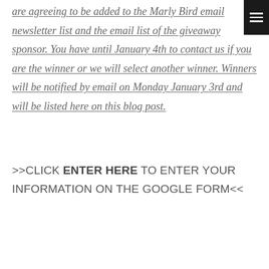are agreeing to be added to the Marly Bird email newsletter list and the email list of the giveaway sponsor. You have until January 4th to contact us if you are the winner or we will select another winner. Winners will be notified by email on Monday January 3rd and will be listed here on this blog post.
>>CLICK ENTER HERE TO ENTER YOUR INFORMATION ON THE GOOGLE FORM<<